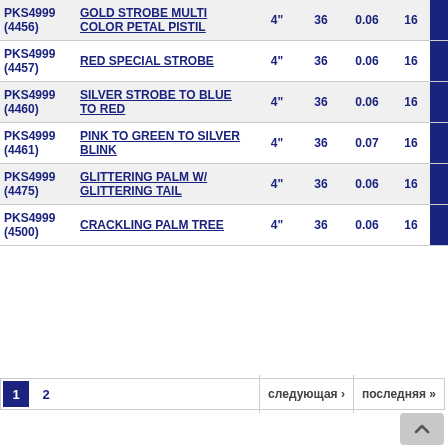| SKU | Name | Size | Qty | Weight | Pack |  |
| --- | --- | --- | --- | --- | --- | --- |
| PKS4999 (4456) | GOLD STROBE MULTI COLOR PETAL PISTIL | 4" | 36 | 0.06 | 16 |  |
| PKS4999 (4457) | RED SPECIAL STROBE | 4" | 36 | 0.06 | 16 |  |
| PKS4999 (4460) | SILVER STROBE TO BLUE TO RED | 4" | 36 | 0.06 | 16 |  |
| PKS4999 (4461) | PINK TO GREEN TO SILVER BLINK | 4" | 36 | 0.07 | 16 |  |
| PKS4999 (4475) | GLITTERING PALM W/ GLITTERING TAIL | 4" | 36 | 0.06 | 16 |  |
| PKS4999 (4500) | CRACKLING PALM TREE | 4" | 36 | 0.06 | 16 |  |
1  2  следующая ›  последняя »